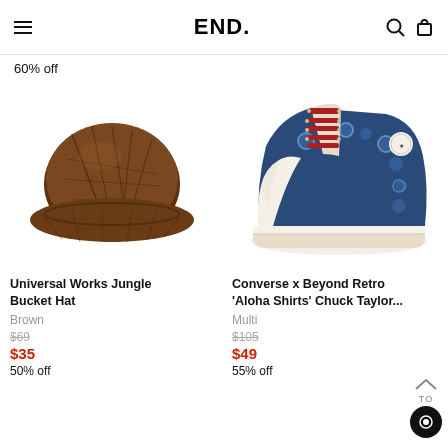END.
60% off
[Figure (photo): Brown tropical-print bucket hat (Universal Works Jungle Bucket Hat) on white background]
[Figure (photo): Blue floral Hawaiian print high-top sneaker with red laces (Converse x Beyond Retro 'Aloha Shirts' Chuck Taylor) on white background]
Universal Works Jungle Bucket Hat
Brown
$69
$35
50% off
Converse x Beyond Retro 'Aloha Shirts' Chuck Taylor...
Multi
$105
$49
55% off